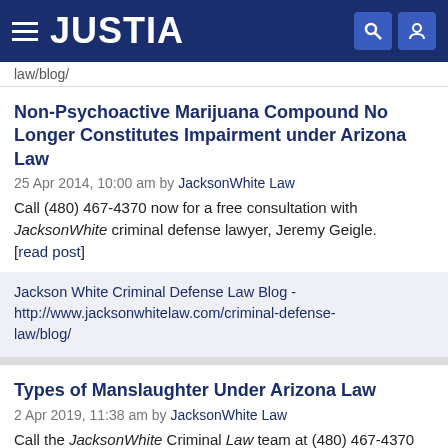JUSTIA
law/blog/
Non-Psychoactive Marijuana Compound No Longer Constitutes Impairment under Arizona Law
25 Apr 2014, 10:00 am by JacksonWhite Law
Call (480) 467-4370 now for a free consultation with JacksonWhite criminal defense lawyer, Jeremy Geigle. [read post]
Jackson White Criminal Defense Law Blog - http://www.jacksonwhitelaw.com/criminal-defense-law/blog/
Types of Manslaughter Under Arizona Law
2 Apr 2019, 11:38 am by JacksonWhite Law
Call the JacksonWhite Criminal Law team at (480) 467-4370